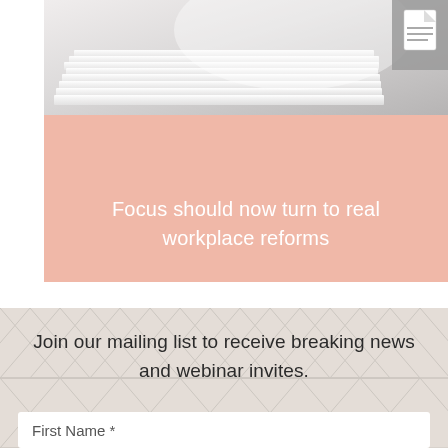[Figure (photo): Stack of white papers or documents with soft light, with a document icon in upper right corner]
Focus should now turn to real workplace reforms
Join our mailing list to receive breaking news and webinar invites.
First Name *